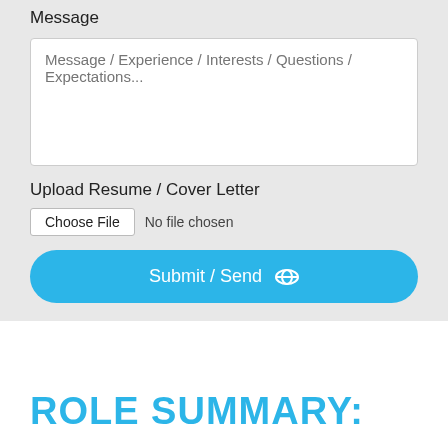Message
Message / Experience / Interests / Questions / Expectations...
Upload Resume / Cover Letter
Choose File  No file chosen
Submit / Send
ROLE SUMMARY:
The Generator Technician is responsible for performing maintenance, diagnostics, and both